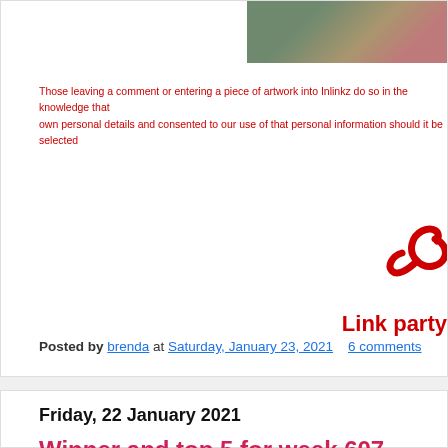[Figure (photo): Partial photo strip visible at top right corner of post card, showing blurred colorful objects on a dark background]
Those leaving a comment or entering a piece of artwork into Inlinkz do so in the knowledge that own personal details and consented to our use of that personal information should it be selected
[Figure (logo): Partial red spiral/swirl logo for Link party, partially cropped on the right side]
Link party
Posted by brenda at Saturday, January 23, 2021   6 comments
Friday, 22 January 2021
Winner and top 5 for week 607 - Someth